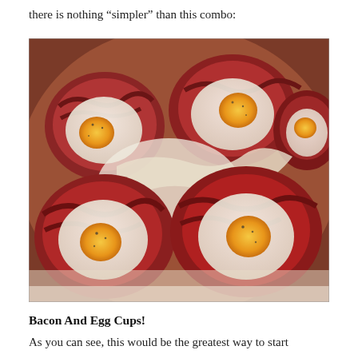there is nothing “simpler” than this combo:
[Figure (photo): Close-up photo of bacon and egg cups: strips of bacon formed into muffin-tin cups, each holding a baked egg with a golden yolk visible, topped with melted white cheese and black pepper seasoning, arranged closely together on a light background.]
Bacon And Egg Cups!
As you can see, this would be the greatest way to start